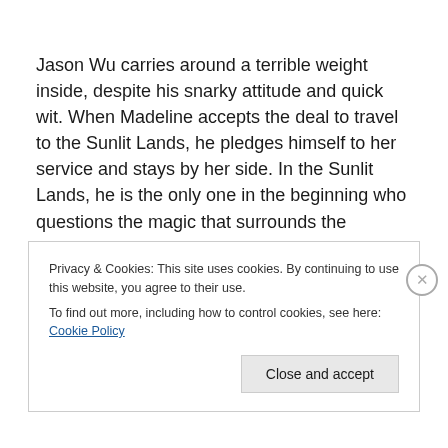Jason Wu carries around a terrible weight inside, despite his snarky attitude and quick wit. When Madeline accepts the deal to travel to the Sunlit Lands, he pledges himself to her service and stays by her side. In the Sunlit Lands, he is the only one in the beginning who questions the magic that surrounds the paradise.
As far as characters go, Jason is going to be the one who
Privacy & Cookies: This site uses cookies. By continuing to use this website, you agree to their use.
To find out more, including how to control cookies, see here: Cookie Policy
Close and accept